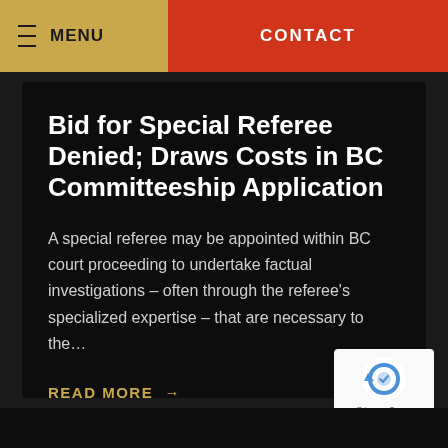MENU   CONTACT
Bid for Special Referee Denied; Draws Costs in BC Committeeship Application
A special referee may be appointed within BC court proceeding to undertake factual investigations – often through the referee's specialized expertise – that are necessary to the…
READ MORE →